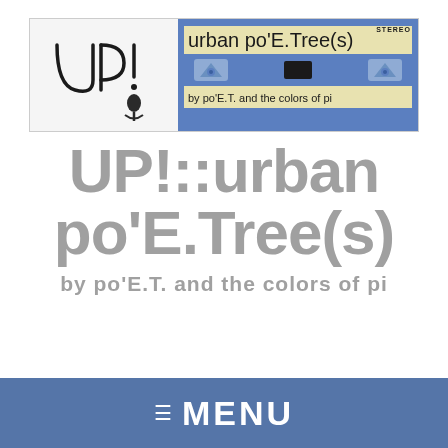[Figure (logo): Urban po'E.Tree(s) logo banner with hand-drawn UP! text and microphone on left, blue cassette tape illustration on right reading 'urban po'E.Tree(s)' and 'by po'E.T. and the colors of pi']
UP!::urban po'E.Tree(s)
by po'E.T. and the colors of pi
MENU